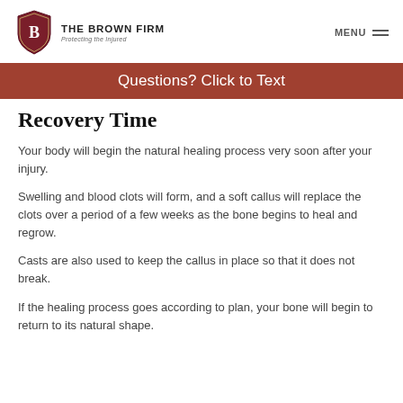[Figure (logo): The Brown Firm logo with shield emblem containing letter B, firm name and tagline 'Protecting the Injured']
Questions? Click to Text
Recovery Time
Your body will begin the natural healing process very soon after your injury.
Swelling and blood clots will form, and a soft callus will replace the clots over a period of a few weeks as the bone begins to heal and regrow.
Casts are also used to keep the callus in place so that it does not break.
If the healing process goes according to plan, your bone will begin to return to its natural shape.